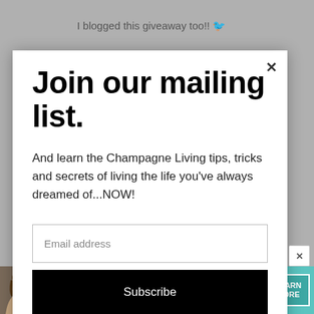I blogged this giveaway too!! 🐦
http://treasuredgiveaways.blogspot.com/2/...
Join our mailing list.
And learn the Champagne Living tips, tricks and secrets of living the life you've always dreamed of...NOW!
Email address
Subscribe
[Figure (infographic): SHE Partner Network advertisement banner with woman photo, bullet points: Earning site & social revenue, Traffic growth. SHE logo and LEARN MORE button.]